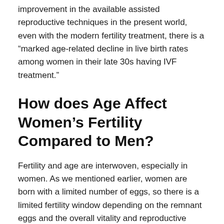improvement in the available assisted reproductive techniques in the present world, even with the modern fertility treatment, there is a “marked age-related decline in live birth rates among women in their late 30s having IVF treatment.”
How does Age Affect Women’s Fertility Compared to Men?
Fertility and age are interwoven, especially in women. As we mentioned earlier, women are born with a limited number of eggs, so there is a limited fertility window depending on the remnant eggs and the overall vitality and reproductive health.
In the case of men, they can produce sperm throughout their life. However, does that mean that a man can father a child even in their 70s and 80s? The answer is yes. But, it comes